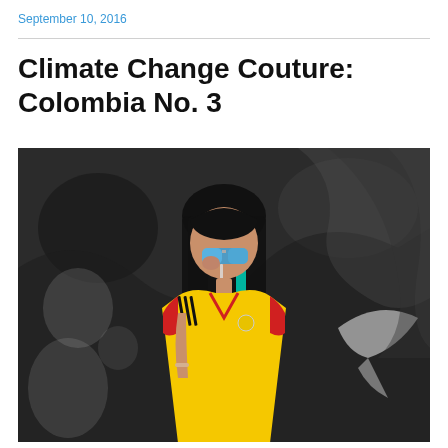September 10, 2016
Climate Change Couture: Colombia No. 3
[Figure (photo): A young woman wearing a yellow Colombia Adidas football jersey with red and navy trim, long dark hair with a teal/green extension, holding blue mirrored sunglasses to her face, standing in front of a black and white graffiti wall.]